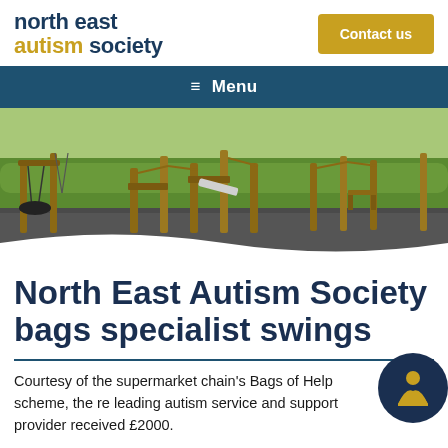north east autism society
Contact us
≡ Menu
[Figure (photo): Outdoor playground with wooden climbing frames, rope bridges, a slide, and a tire swing on rubber surfacing, surrounded by green grass and trees.]
North East Autism Society bags specialist swings
Courtesy of the supermarket chain's Bags of Help scheme, the re leading autism service and support provider received £2000.